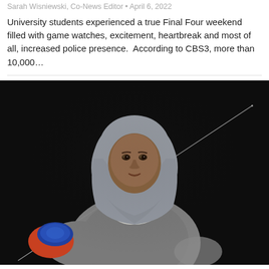Sarah Wisniewski, Co-News Editor • April 6, 2022
University students experienced a true Final Four weekend filled with game watches, excitement, heartbreak and most of all, increased police presence.  According to CBS3, more than 10,000…
[Figure (photo): A female fencer in a gray hijab and gray athletic jacket, holding a fencing sword (épée) with a blue/red gloved hand. She poses against a dark background. The sword extends diagonally across the upper portion of the image.]